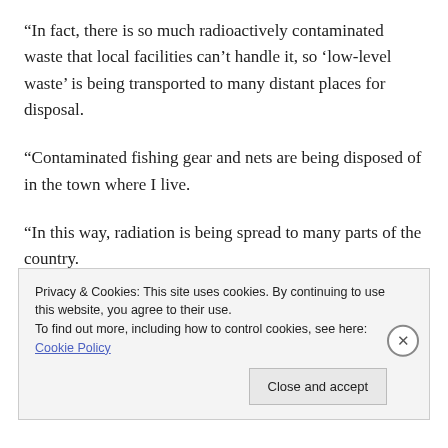“In fact, there is so much radioactively contaminated waste that local facilities can’t handle it, so ‘low-level waste’ is being transported to many distant places for disposal.
“Contaminated fishing gear and nets are being disposed of in the town where I live.
“In this way, radiation is being spread to many parts of the country.
“It would seem to make sense to keep it where it is and avoid
Privacy & Cookies: This site uses cookies. By continuing to use this website, you agree to their use.
To find out more, including how to control cookies, see here: Cookie Policy